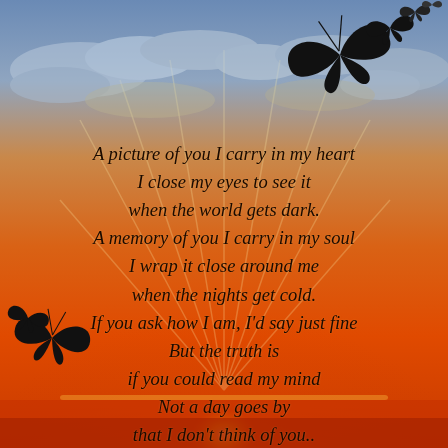[Figure (illustration): Sunset background with warm orange, gold, and red sky with clouds, sun rays emanating from bottom center, and silhouetted butterflies in top-right and bottom-left corners. Poem text overlaid on the image.]
A picture of you I carry in my heart
I close my eyes to see it
when the world gets dark.
A memory of you I carry in my soul
I wrap it close around me
when the nights get cold.
If you ask how I am, I'd say just fine
But the truth is
if you could read my mind
Not a day goes by
that I don't think of you..